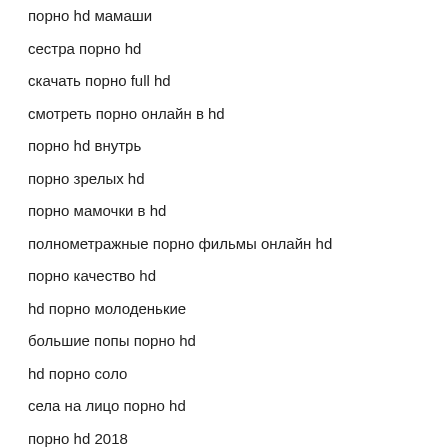порно hd мамаши
сестра порно hd
скачать порно full hd
смотреть порно онлайн в hd
порно hd внутрь
порно зрелых hd
порно мамочки в hd
полнометражные порно фильмы онлайн hd
порно качество hd
hd порно молоденькие
большие попы порно hd
hd порно соло
села на лицо порно hd
порно hd 2018
порно нд мама
испанское порно hd
порно в hd 360